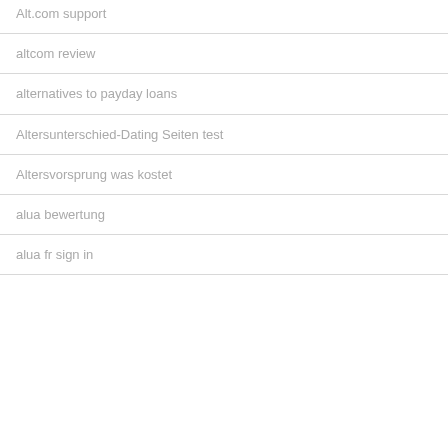Alt.com support
altcom review
alternatives to payday loans
Altersunterschied-Dating Seiten test
Altersvorsprung was kostet
alua bewertung
alua fr sign in